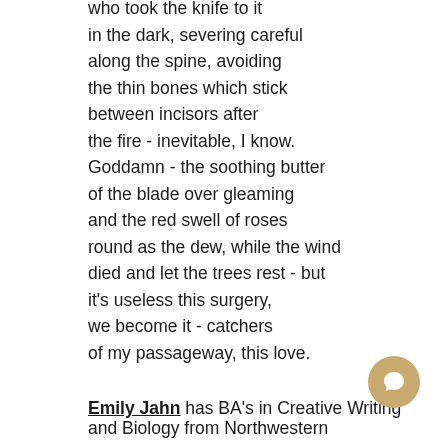who took the knife to it
in the dark, severing careful
along the spine, avoiding
the thin bones which stick
between incisors after
the fire - inevitable, I know.
Goddamn - the soothing butter
of the blade over gleaming
and the red swell of roses
round as the dew, while the wind
died and let the trees rest - but
it's useless this surgery,
we become it - catchers
of my passageway, this love.
Emily Jahn has BA's in Creative Writing and Biology from Northwestern...